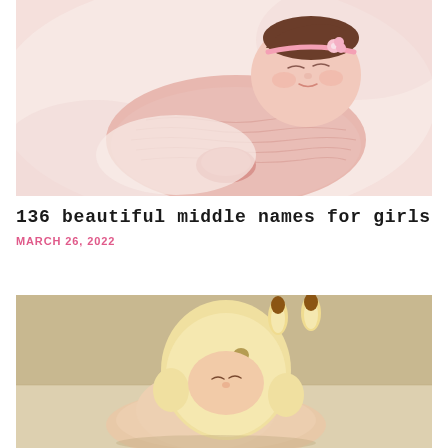[Figure (photo): Sleeping newborn baby girl wrapped in pink knit blanket with a pink floral headband, resting on a soft white/pink background]
136 beautiful middle names for girls
MARCH 26, 2022
[Figure (photo): Newborn baby wearing a giraffe knit hat/bonnet with ears, curled up on a beige/tan background]